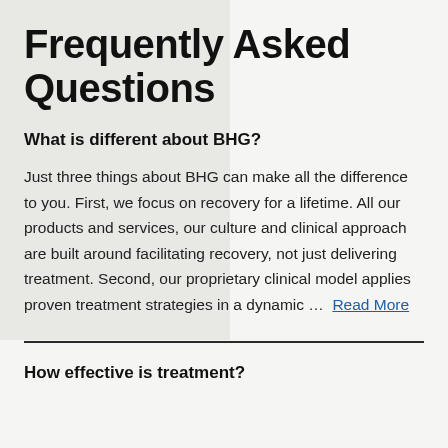Frequently Asked Questions
What is different about BHG?
Just three things about BHG can make all the difference to you. First, we focus on recovery for a lifetime. All our products and services, our culture and clinical approach are built around facilitating recovery, not just delivering treatment. Second, our proprietary clinical model applies proven treatment strategies in a dynamic …  Read More
How effective is treatment?